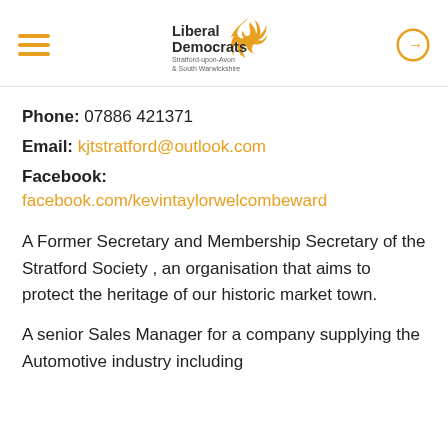Liberal Democrats Stratford-upon-Avon & South Warwickshire
Phone: 07886 421371
Email: kjtstratford@outlook.com
Facebook: facebook.com/kevintaylorwelcombeward
A Former Secretary and Membership Secretary of the Stratford Society , an organisation that aims to protect the heritage of our historic market town.
A senior Sales Manager for a company supplying the Automotive industry including